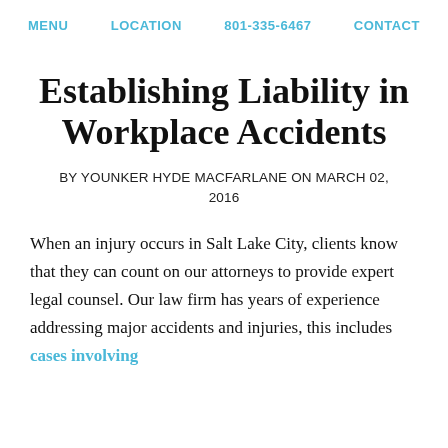MENU   LOCATION   801-335-6467   CONTACT
Establishing Liability in Workplace Accidents
BY YOUNKER HYDE MACFARLANE ON MARCH 02, 2016
When an injury occurs in Salt Lake City, clients know that they can count on our attorneys to provide expert legal counsel. Our law firm has years of experience addressing major accidents and injuries, this includes cases involving